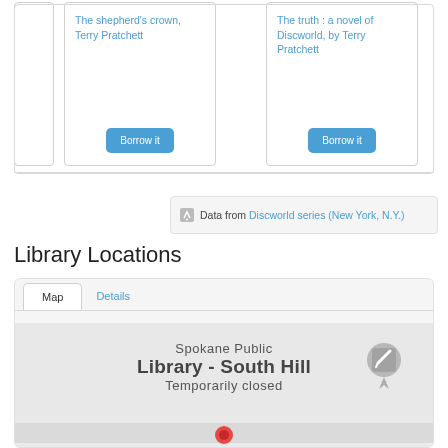The shepherd's crown, Terry Pratchett
Borrow it
The truth : a novel of Discworld, by Terry Pratchett
Borrow it
Data from Discworld series (New York, N.Y.)
Library Locations
[Figure (screenshot): Map view with tabs 'Map' (active) and 'Details'. Shows a Google Maps-style map with a tooltip label reading 'Spokane Public Library - South Hill — Temporarily closed' and a red map pin marker.]